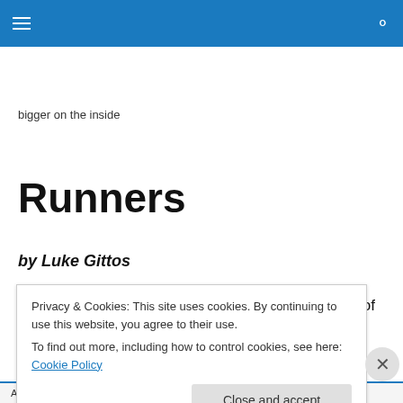bigger on the inside — navigation bar with hamburger menu and search icon
bigger on the inside
Runners
by Luke Gittos
The moneyed student from the Chinese University of
Privacy & Cookies: This site uses cookies. By continuing to use this website, you agree to their use.
To find out more, including how to control cookies, see here: Cookie Policy
Close and accept
Advertisements